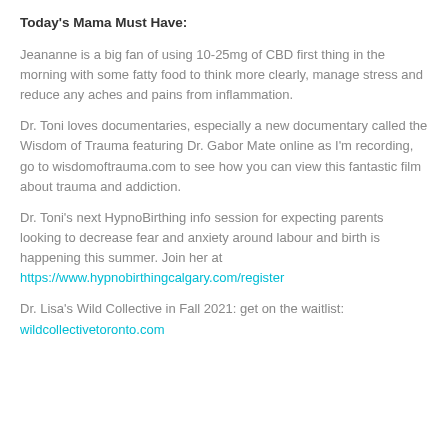Today's Mama Must Have:
Jeananne is a big fan of using 10-25mg of CBD first thing in the morning with some fatty food to think more clearly, manage stress and reduce any aches and pains from inflammation.
Dr. Toni loves documentaries, especially a new documentary called the Wisdom of Trauma featuring Dr. Gabor Mate online as I'm recording, go to wisdomoftrauma.com to see how you can view this fantastic film about trauma and addiction.
Dr. Toni's next HypnoBirthing info session for expecting parents looking to decrease fear and anxiety around labour and birth is happening this summer. Join her at https://www.hypnobirthingcalgary.com/register
Dr. Lisa's Wild Collective in Fall 2021: get on the waitlist: wildcollectivetoronto.com